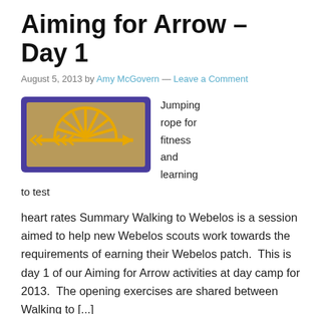Aiming for Arrow – Day 1
August 5, 2013 by Amy McGovern — Leave a Comment
[Figure (photo): A Boy Scout Arrow of Light patch — rectangular, purple border with gold embroidery showing a rising sun and an arrow on a tan background.]
Jumping rope for fitness and learning to test heart rates Summary Walking to Webelos is a session aimed to help new Webelos scouts work towards the requirements of earning their Webelos patch.  This is day 1 of our Aiming for Arrow activities at day camp for 2013.  The opening exercises are shared between Walking to [...]